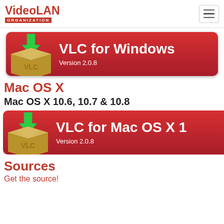VideoLAN ORGANIZATION
[Figure (illustration): VLC for Windows download button with VLC box icon and green download arrow, Version 2.0.8]
Mac OS X
Mac OS X 10.6, 10.7 & 10.8
[Figure (illustration): VLC for Mac OS X 1 download button with VLC box icon and green download arrow, Version 2.0.8]
Sources
Get the source!